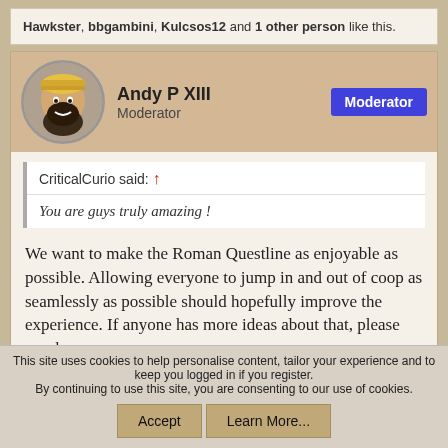Hawkster, bbgambini, Kulcsos12 and 1 other person like this.
Andy P XIII
Moderator
CriticalCurio said: ↑
You are guys truly amazing !
We want to make the Roman Questline as enjoyable as possible. Allowing everyone to jump in and out of coop as seamlessly as possible should hopefully improve the experience. If anyone has more ideas about that, please speak up.
This site uses cookies to help personalise content, tailor your experience and to keep you logged in if you register.
By continuing to use this site, you are consenting to our use of cookies.